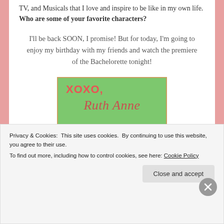TV, and Musicals that I love and inspire to be like in my own life. Who are some of your favorite characters?
I'll be back SOON, I promise! But for today, I'm going to enjoy my birthday with my friends and watch the premiere of the Bachelorette tonight!
[Figure (illustration): Green box with pink/red border containing the text 'XOXO, Ruth Anne' in stylized lettering]
Sponsored Content
Privacy & Cookies: This site uses cookies. By continuing to use this website, you agree to their use. To find out more, including how to control cookies, see here: Cookie Policy
Close and accept